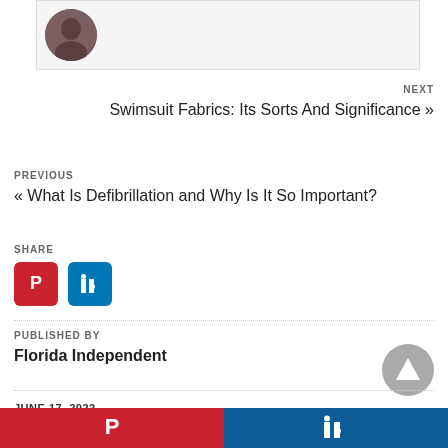[Figure (photo): Profile picture thumbnail in circular crop inside a bordered box]
NEXT
Swimsuit Fabrics: Its Sorts And Significance »
PREVIOUS
« What Is Defibrillation and Why Is It So Important?
SHARE
[Figure (logo): Pinterest icon (white P on red background)]
[Figure (logo): LinkedIn icon (white in on blue background)]
PUBLISHED BY
Florida Independent
JUNE 17, 2022
[Figure (other): Back to top button - grey circle with upward triangle]
[Figure (logo): Pinterest icon bottom bar (white P on red)]
[Figure (logo): LinkedIn icon bottom bar (white in on dark blue)]